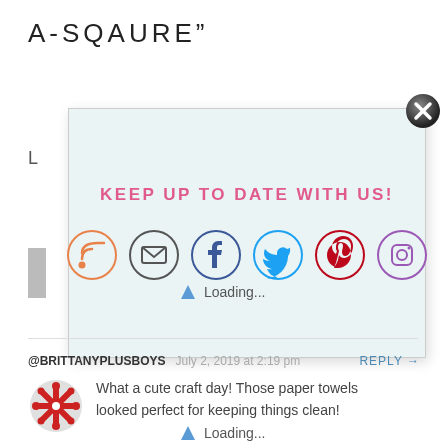A-SQAURE”
[Figure (screenshot): Popup overlay with 'KEEP UP TO DATE WITH US!' heading in pink and 6 social media icons (RSS, email, Facebook, Twitter, Pinterest, Instagram) on light blue background with close button]
Loading...
@BRITTANYPLUSBOYS  July 2, 2019 at 2:19 pm  REPLY →
[Figure (illustration): Red decorative snowflake/flower avatar icon]
What a cute craft day! Those paper towels looked perfect for keeping things clean!
Loading...